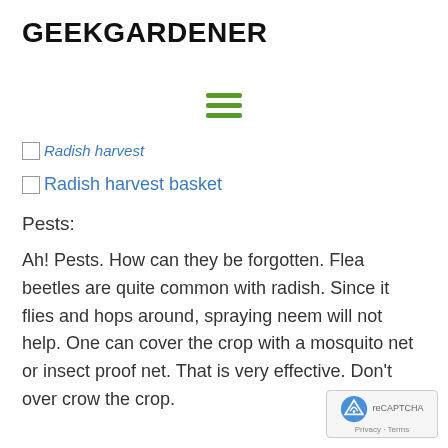GEEKGARDENER
[Figure (other): Hamburger menu icon with three green horizontal lines]
[Figure (other): Broken image placeholder for Radish harvest]
[Figure (other): Broken image placeholder for Radish harvest basket]
Pests:
Ah! Pests. How can they be forgotten. Flea beetles are quite common with radish. Since it flies and hops around, spraying neem will not help. One can cover the crop with a mosquito net or insect proof net. That is very effective. Don't over crow the crop.